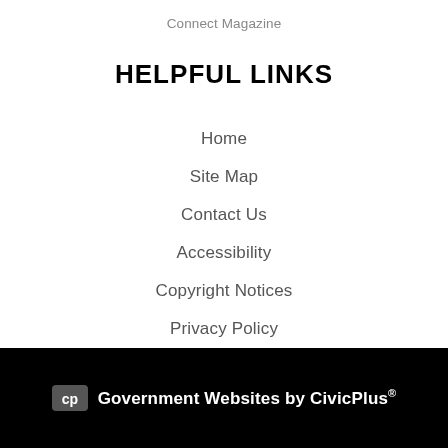Connect Magazine
HELPFUL LINKS
Home
Site Map
Contact Us
Accessibility
Copyright Notices
Privacy Policy
Government Websites by CivicPlus®